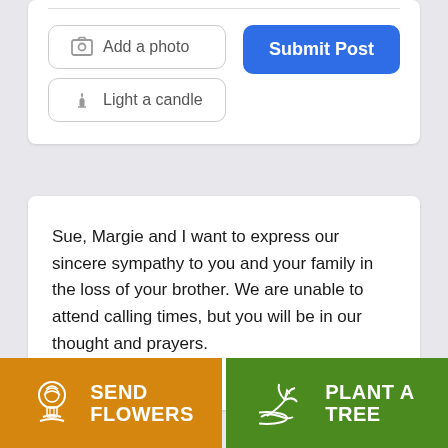[Figure (screenshot): UI card with Add a photo button, Light a candle button, and Submit Post blue button]
Sue, Margie and I want to express our sincere sympathy to you and your family in the loss of your brother. We are unable to attend calling times, but you will be in our thought and prayers.
FRED AND MARGIE
[Figure (infographic): Send Flowers orange button and Plant A Tree green button in footer bar]